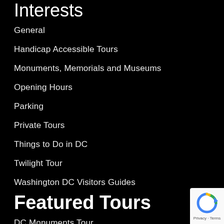Interests
General
Handicap Accessible Tours
Monuments, Memorials and Museums
Opening Hours
Parking
Private Tours
Things to Do in DC
Twilight Tour
Washington DC Visitors Guides
Featured Tours
DC Monuments Tour